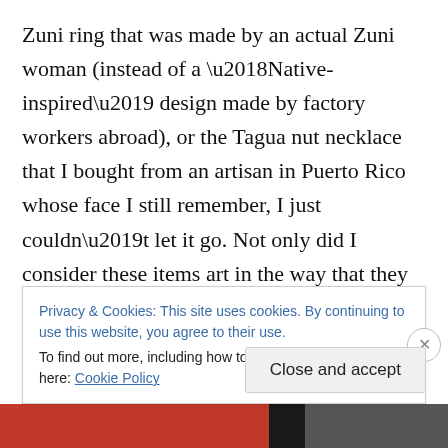Zuni ring that was made by an actual Zuni woman (instead of a ‘Native-inspired’ design made by factory workers abroad), or the Tagua nut necklace that I bought from an artisan in Puerto Rico whose face I still remember, I just couldn’t let it go. Not only did I consider these items art in the way that they had been lovingly hand-crafted, but I had a personal connection with the people who had made them or given them to me. It was easier for me to toss out the shirt I got from Urban Outfitters or the earrings I bought years ago at Forever 21, because I had no knowledge of who made them. They meant little to me. I
Privacy & Cookies: This site uses cookies. By continuing to use this website, you agree to their use.
To find out more, including how to control cookies, see here: Cookie Policy
Close and accept